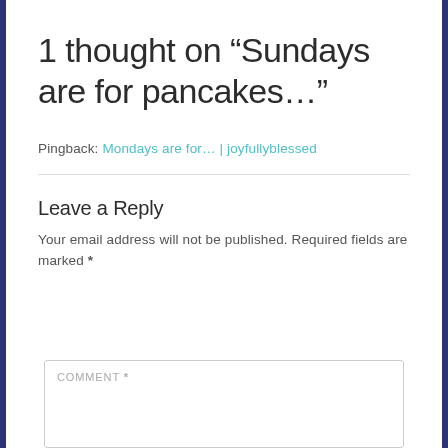1 thought on “Sundays are for pancakes…”
Pingback: Mondays are for… | joyfullyblessed
Leave a Reply
Your email address will not be published. Required fields are marked *
COMMENT *